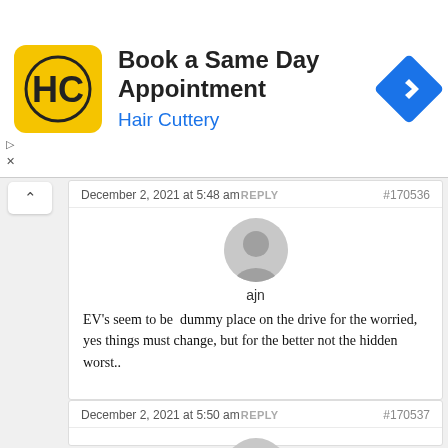[Figure (logo): Hair Cuttery ad banner with HC logo, text 'Book a Same Day Appointment / Hair Cuttery', and blue arrow sign]
December 2, 2021 at 5:48 am REPLY  #170536
ajn
EV's seem to be  dummy place on the drive for the worried, yes things must change, but for the better not the hidden worst..
December 2, 2021 at 5:50 am REPLY  #170537
ajn